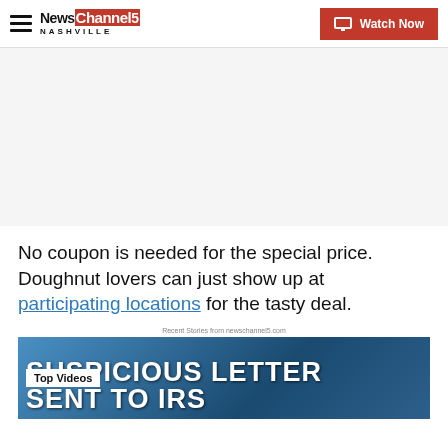NewsChannel 5 Nashville | Watch Now
No coupon is needed for the special price. Doughnut lovers can just show up at participating locations for the tasty deal.
Recent Stories from newschannel5.com
[Figure (screenshot): Video thumbnail showing 'SUSPICIOUS LETTER SENT TO IRS' headline with Top Videos badge overlay]